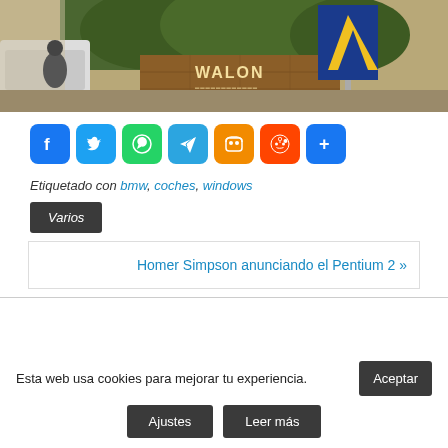[Figure (photo): Outdoor photo showing a vehicle on the left, trees in the background, a brown brick wall with a sign reading 'WALON', and a blue/yellow triangular logo sign on the right.]
[Figure (infographic): Social sharing buttons row: Facebook (blue), Twitter (blue), WhatsApp (green), Telegram (light blue), Mastodon (orange), Reddit (orange-red), Share/More (blue)]
Etiquetado con bmw, coches, windows
Varios
Homer Simpson anunciando el Pentium 2 »
Esta web usa cookies para mejorar tu experiencia.
Aceptar
Ajustes
Leer más